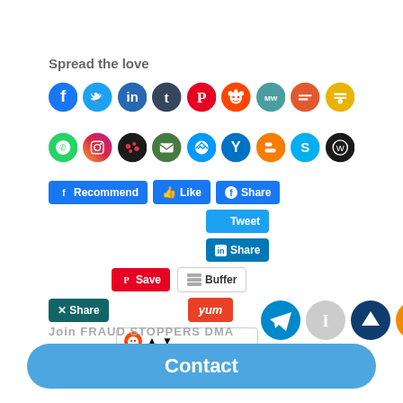Spread the love
[Figure (infographic): Two rows of social media icon circles: Facebook, Twitter, LinkedIn, Tumblr, Pinterest, Reddit, MeWe, Mix, Flipboard (row 1); WhatsApp, Instagram, Meetup, Email, Messenger, Yammer, Blogger, Skype, WordPress (row 2). Below are social sharing buttons: Recommend, Like, Share (Facebook), Tweet, Share (LinkedIn), Save (Pinterest), Buffer, Yum, Share (XING), Reddit widget, Telegram, Instapaper, Shareaholic, AddThis icons.]
Join FRAUD STOPPERS DMA
Contact